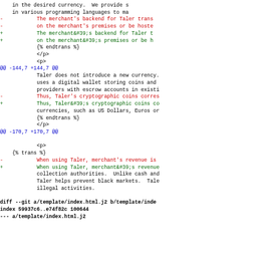in the desired currency. We provide s
in various programming languages to ma
- The merchant's backend for Taler trans
- on the merchant's premises or be hoste
+ The merchant&#39;s backend for Taler t
+ on the merchant&#39;s premises or be h
    {% endtrans %}
            </p>
            <p>
@@ -144,7 +144,7 @@
            Taler does not introduce a new currency.
            uses a digital wallet storing coins and
            providers with escrow accounts in existi
-           Thus, Taler's cryptographic coins corres
+           Thus, Taler&#39;s cryptographic coins co
            currencies, such as US Dollars, Euros or
    {% endtrans %}
            </p>
@@ -170,7 +170,7 @@

            <p>
    {% trans %}
-           When using Taler, merchant's revenue is
+           When using Taler, merchant&#39;s revenue
            collection authorities. Unlike cash and
            Taler helps prevent black markets. Tale
            illegal activities.

diff --git a/template/index.html.j2 b/template/inde
index 59937c6..e74f82c 100644
--- a/template/index.html.j2